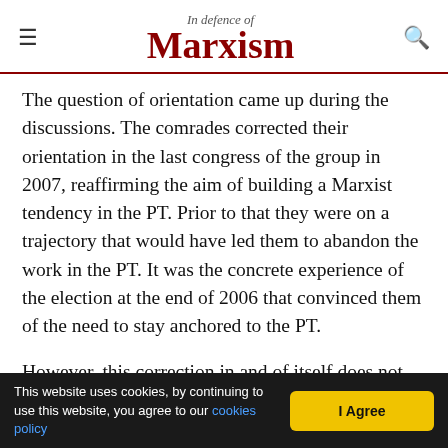In Defence of Marxism
The question of orientation came up during the discussions. The comrades corrected their orientation in the last congress of the group in 2007, reaffirming the aim of building a Marxist tendency in the PT. Prior to that they were on a trajectory that would have led them to abandon the work in the PT. It was the concrete experience of the election at the end of 2006 that convinced them of the need to stay anchored to the PT.
However, this correction in and of itself does not solve the problem of how to build in the immediate circumstances. As we explained above, the PT is at
This website uses cookies, by continuing to use this website, you agree to our cookies policy | I Agree